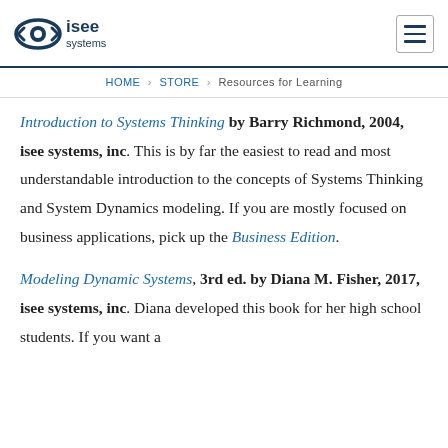isee systems
HOME › STORE › Resources for Learning
Introduction to Systems Thinking by Barry Richmond, 2004, isee systems, inc. This is by far the easiest to read and most understandable introduction to the concepts of Systems Thinking and System Dynamics modeling. If you are mostly focused on business applications, pick up the Business Edition.
Modeling Dynamic Systems, 3rd ed. by Diana M. Fisher, 2017, isee systems, inc. Diana developed this book for her high school students. If you want a